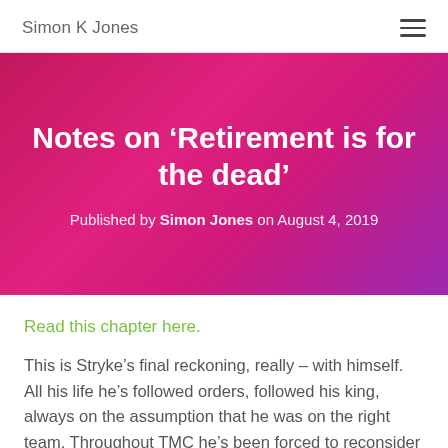Simon K Jones
Notes on ‘Retirement is for the dead’
Published by Simon Jones on August 4, 2019
Read this chapter here.
This is Stryke’s final reckoning, really – with himself. All his life he’s followed orders, followed his king, always on the assumption that he was on the right team. Throughout TMC he’s been forced to reconsider that, in the process